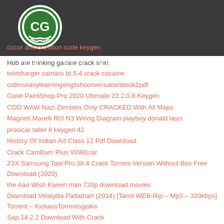[Figure (logo): CG logo circle with green background and white text, on dark grey header bar]
cuco authorization code keygen
Hob ate thinking adare crack shirt
telecharger camaro bt 5.4 crack cocaine
collinseasylearningenglishconversationbook1pdf
Corel PaintShop Pro 2020 Ultimate 22.2.0.8 Keygen
COD WAW Nazi Zombies Only CRACKED With All Maps
Magneti Marelli Rt3 N3 Wiring Diagram playboy donald lasci
prosicar taller 6 keygen 42
History Of Indian Art Class 12 Pdf Download
Crack CamBam Plus V098Lrar
Z3X Samsung Tool Pro 38.4 Crack Torrent Version Without Box Free Download (2020)
the Aao Wish Karein man 720p download movies
Download Velaiyilla Pattathari (2014) [Tamil WEB-Rip – Mp3 – 320kbps] Torrent – KickassTorrentsgolke
Sap 14.2.2 Download With Crack
warblade 1.34 full version download
coinciden tus convicciones con tus compromisos libro pdf download